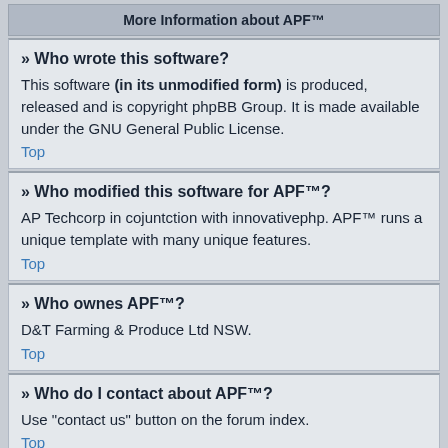More Information about APF™
» Who wrote this software?
This software (in its unmodified form) is produced, released and is copyright phpBB Group. It is made available under the GNU General Public License.
Top
» Who modified this software for APF™?
AP Techcorp in cojuntction with innovativephp. APF™ runs a unique template with many unique features.
Top
» Who ownes APF™?
D&T Farming & Produce Ltd NSW.
Top
» Who do I contact about APF™?
Use "contact us" button on the forum index.
Top
» Is Australian Poultry Forum™ APF™ Trade Marked?
Yes 1566349 all rights 2002-2022.